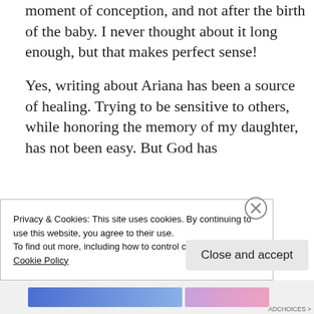moment of conception, and not after the birth of the baby. I never thought about it long enough, but that makes perfect sense!

Yes, writing about Ariana has been a source of healing. Trying to be sensitive to others, while honoring the memory of my daughter, has not been easy. But God has
Privacy & Cookies: This site uses cookies. By continuing to use this website, you agree to their use.
To find out more, including how to control cookies, see here:
Cookie Policy
Close and accept